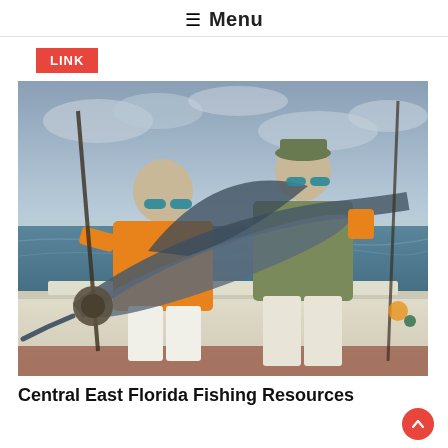≡ Menu
LINK
[Figure (photo): Two men on a fishing boat holding up a large sailfish. The man on the left wears an orange shirt and sunglasses; the man on the right wears camouflage and a cap. Overcast sky and ocean in background.]
Central East Florida Fishing Resources